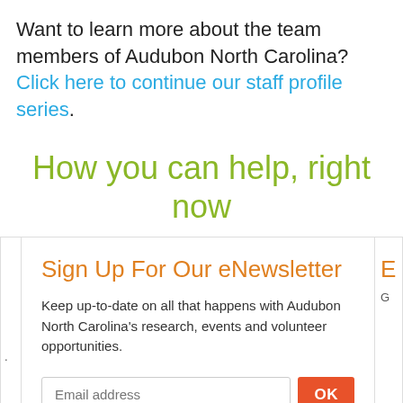Want to learn more about the team members of Audubon North Carolina? Click here to continue our staff profile series.
How you can help, right now
Sign Up For Our eNewsletter
Keep up-to-date on all that happens with Audubon North Carolina's research, events and volunteer opportunities.